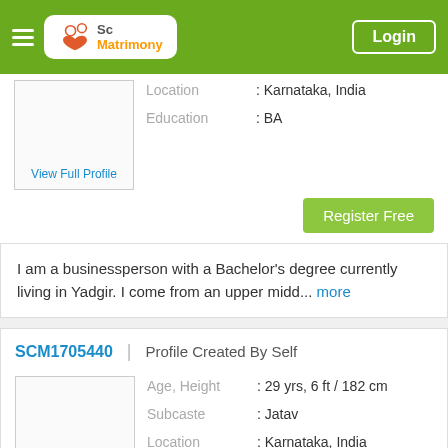Sc Matrimony | Login
Location : Karnataka, India
Education : BA
View Full Profile
Register Free
I am a businessperson with a Bachelor's degree currently living in Yadgir. I come from an upper midd... more
SCM1705440 | Profile Created By Self
Age, Height : 29 yrs, 6 ft / 182 cm
Subcaste : Jatav
Location : Karnataka, India
Education : BA
View Full Profile
Register Free
I am a police with a Bachelor's degree working in government/psu sector. I